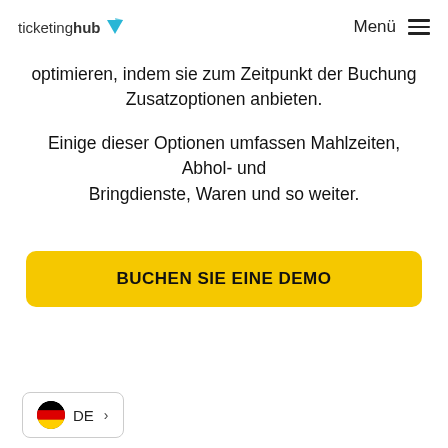ticketinghub  Menü
optimieren, indem sie zum Zeitpunkt der Buchung Zusatzoptionen anbieten.
Einige dieser Optionen umfassen Mahlzeiten, Abhol- und Bringdienste, Waren und so weiter.
BUCHEN SIE EINE DEMO
DE >